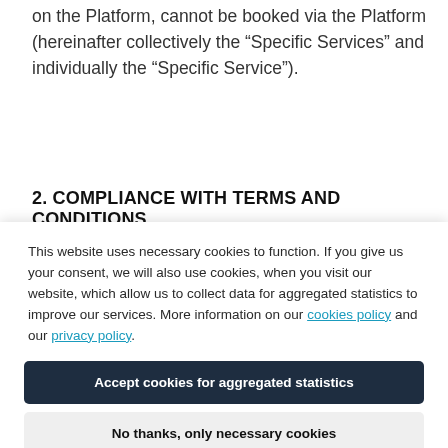on the Platform, cannot be booked via the Platform (hereinafter collectively the “Specific Services” and individually the “Specific Service”).
2. COMPLIANCE WITH TERMS AND CONDITIONS
This website uses necessary cookies to function. If you give us your consent, we will also use cookies, when you visit our website, which allow us to collect data for aggregated statistics to improve our services. More information on our cookies policy and our privacy policy.
Accept cookies for aggregated statistics
No thanks, only necessary cookies
Order is submitted, the Customer is